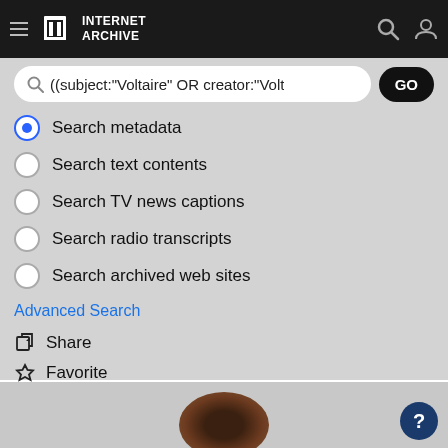[Figure (screenshot): Internet Archive navigation bar with hamburger menu, logo, search icon and user icon]
[Figure (screenshot): Search bar showing query: ((subject:"Voltaire" OR creator:"Volt with GO button]
Search metadata (selected)
Search text contents
Search TV news captions
Search radio transcripts
Search archived web sites
Advanced Search
Share
Favorite
[Figure (photo): Partial portrait photo visible at the bottom of the page]
[Figure (other): Blue circular help button with question mark]